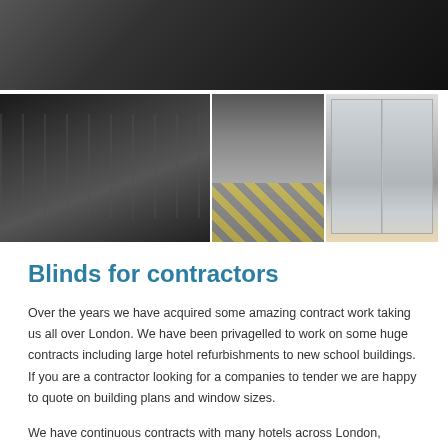[Figure (photo): Top wide photo of a dark room interior with flooring and ceiling details]
[Figure (photo): Three side-by-side room interior photos: left shows large windows in an empty room, center shows a bedroom with striped bedding, right shows glass partition doors]
Blinds for contractors
Over the years we have acquired some amazing contract work taking us all over London. We have been privagelled to work on some huge contracts including large hotel refurbishments to new school buildings. If you are a contractor looking for a companies to tender we are happy to quote on building plans and window sizes.
We have continuous contracts with many hotels across London, supplying luxurious Roman Blinds, Shaped roller blinds, curtains